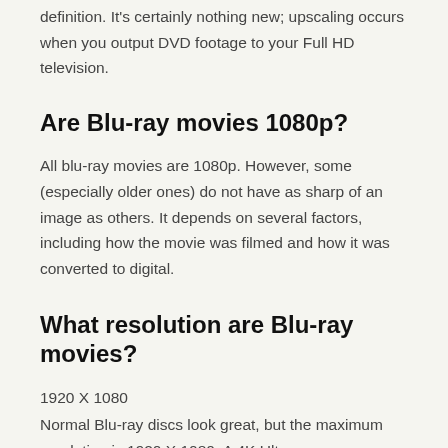definition. It's certainly nothing new; upscaling occurs when you output DVD footage to your Full HD television.
Are Blu-ray movies 1080p?
All blu-ray movies are 1080p. However, some (especially older ones) do not have as sharp of an image as others. It depends on several factors, including how the movie was filmed and how it was converted to digital.
What resolution are Blu-ray movies?
1920 X 1080
Normal Blu-ray discs look great, but the maximum resolution is 1920 X 1080. A 4K Ultra